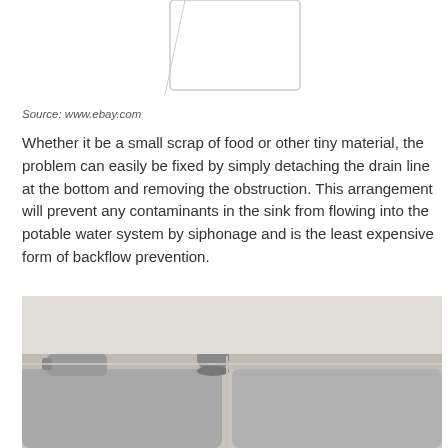[Figure (photo): Partial view of a product image, likely a plumbing or sink-related item, white background, faint outline visible at top of page]
Source: www.ebay.com
Whether it be a small scrap of food or other tiny material, the problem can easily be fixed by simply detaching the drain line at the bottom and removing the obstruction. This arrangement will prevent any contaminants in the sink from flowing into the potable water system by siphonage and is the least expensive form of backflow prevention.
[Figure (photo): Close-up photograph of a stainless steel sink with a cylindrical cap/plug and a faucet handle visible, showing sink basin edges]